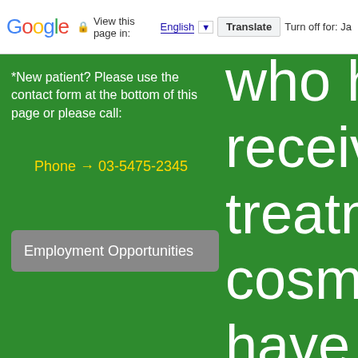Google — View this page in: English [▼] Translate | Turn off for: Ja
*New patient? Please use the contact form at the bottom of this page or please call:
Phone → 03-5475-2345
Employment Opportunities
who have receiving treatment cosmeti have claimed cured of migraine headache other ty headac